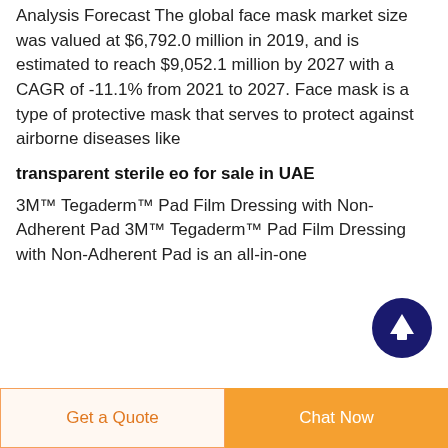Analysis Forecast The global face mask market size was valued at $6,792.0 million in 2019, and is estimated to reach $9,052.1 million by 2027 with a CAGR of -11.1% from 2021 to 2027. Face mask is a type of protective mask that serves to protect against airborne diseases like
transparent sterile eo for sale in UAE
3M™ Tegaderm™ Pad Film Dressing with Non-Adherent Pad 3M™ Tegaderm™ Pad Film Dressing with Non-Adherent Pad is an all-in-one
[Figure (other): Circular dark navy blue scroll-to-top button with white upward arrow icon]